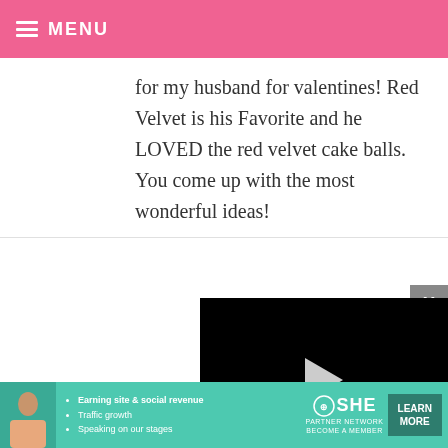MENU
for my husband for valentines! Red Velvet is his Favorite and he LOVED the red velvet cake balls. You come up with the most wonderful ideas!
ECHO ,
oh my go... thing ! its better... thats hand made, haha :D
[Figure (screenshot): Embedded video player showing black screen with play button, progress bar at ~85%, time 13:52, with CC, grid, settings, and fullscreen controls]
[Figure (infographic): SHE Partner Network banner advertisement with bullet points: Earning site & social revenue, Traffic growth, Speaking on our stages. Includes LEARN MORE button.]